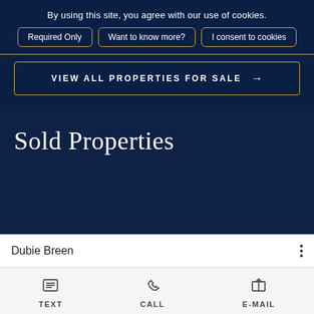By using this site, you agree with our use of cookies.
Required Only
Want to know more?
I consent to cookies
VIEW ALL PROPERTIES FOR SALE →
Sold Properties
Dubie Breen
TEXT
CALL
E-MAIL